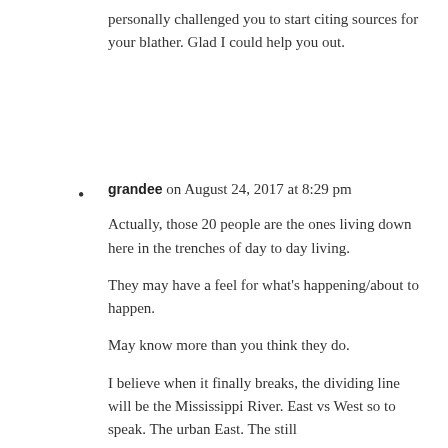personally challenged you to start citing sources for your blather. Glad I could help you out.
grandee on August 24, 2017 at 8:29 pm

Actually, those 20 people are the ones living down here in the trenches of day to day living.

They may have a feel for what's happening/about to happen.

May know more than you think they do.

I believe when it finally breaks, the dividing line will be the Mississippi River. East vs West so to speak. The urban East. The still